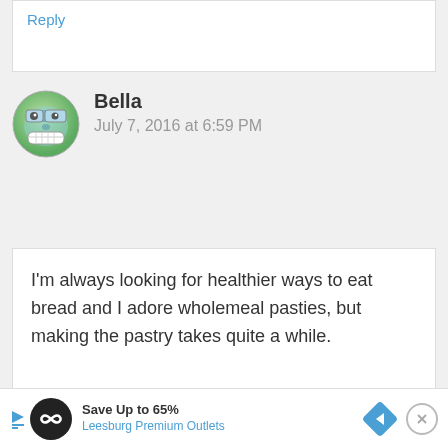Reply
Bella
July 7, 2016 at 6:59 PM
I’m always looking for healthier ways to eat bread and I adore wholemeal pasties, but making the pastry takes quite a while.
Save Up to 65%
Leesburg Premium Outlets